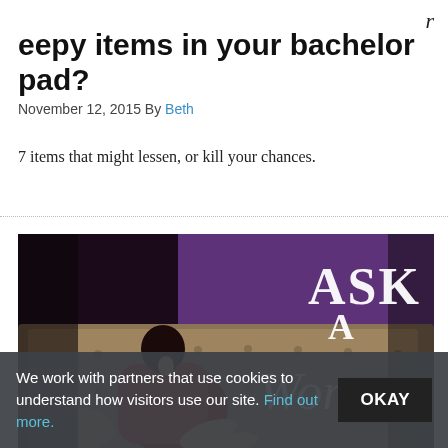r
eepy items in your bachelor pad?
November 12, 2015 By Beth
7 items that might lessen, or kill your chances.
[Figure (photo): A woman in a red dress lounging on a leather sofa with the text 'Ask A Woman' overlaid in elegant typography against a dark purple/black background.]
We work with partners that use cookies to understand how visitors use our site. Find out more.